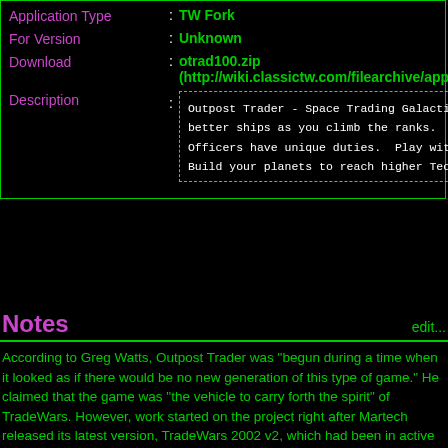Application Type : TW Fork
For Version : Unknown
Download : otrad100.zip (http://wiki.classictw.com/filearchive/apps/o
Description :
Outpost Trader - Space Trading Galactic Conquest... better ships as you climb the ranks. Use multi... Officers have unique duties. Play with chessli... Build your planets to reach higher Tech Levels.
Notes
edit...
According to Greg Watts, Outpost Trader was "begun during a time when it looked as if there would be no new generation of this type of game." He claimed that the game was "the vehicle to carry forth the spirit" of TradeWars. However, work started on the project right after Martech released its latest version, TradeWars 2002 v2, which had been in active development for the 9 months following the final release of TW 2002 v1. This is evidence of a growing disillusionment among many prominent TradeWars players and sysops, primarily members of the FidoNet TradeWars feed, including OT's author, Greg Watts, Joel Downer (Iron Ox) and Albin Gersich (TW Assistant), and other